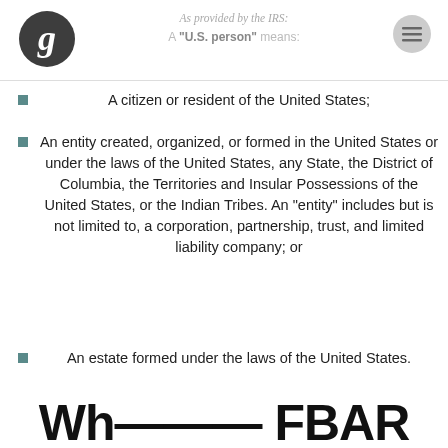As provided by the IRS: A "U.S. person" means:
A citizen or resident of the United States;
An entity created, organized, or formed in the United States or under the laws of the United States, any State, the District of Columbia, the Territories and Insular Possessions of the United States, or the Indian Tribes. An "entity" includes but is not limited to, a corporation, partnership, trust, and limited liability company; or
An estate formed under the laws of the United States.
Wh...